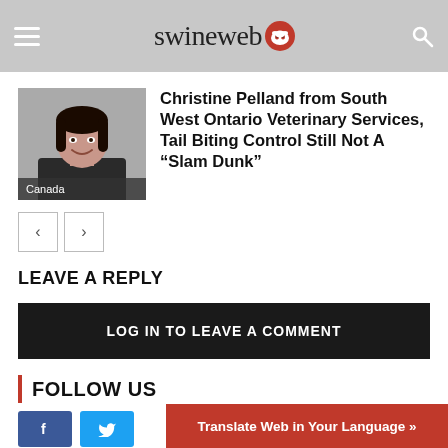swineweb
[Figure (photo): Headshot of Christine Pelland, a woman with dark hair, smiling, with 'Canada' label overlay]
Christine Pelland from South West Ontario Veterinary Services, Tail Biting Control Still Not A “Slam Dunk”
LEAVE A REPLY
LOG IN TO LEAVE A COMMENT
FOLLOW US
Translate Web in Your Language »